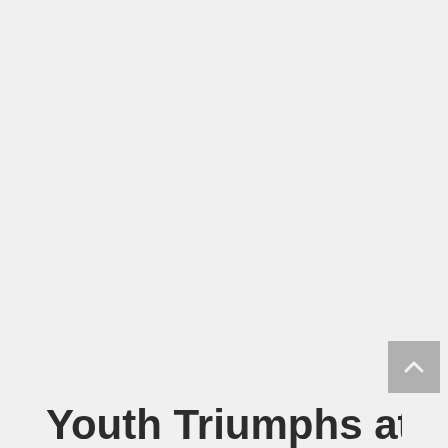[Figure (photo): Large image area occupying the upper portion of the page, background is light gray]
Youth Triumphs at Indian